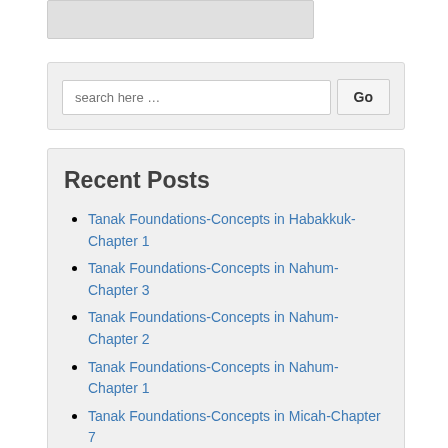[Figure (other): Gray placeholder image box at top]
search here …
Recent Posts
Tanak Foundations-Concepts in Habakkuk-Chapter 1
Tanak Foundations-Concepts in Nahum-Chapter 3
Tanak Foundations-Concepts in Nahum-Chapter 2
Tanak Foundations-Concepts in Nahum-Chapter 1
Tanak Foundations-Concepts in Micah-Chapter 7